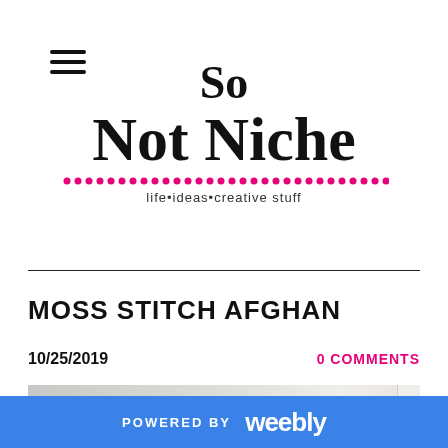[Figure (logo): Hamburger menu icon with three horizontal lines]
So Not Niche
life•ideas•creative stuff
MOSS STITCH AFGHAN
10/25/2019
0 COMMENTS
[Figure (photo): Partially visible photo of a grey knitted afghan]
POWERED BY weebly